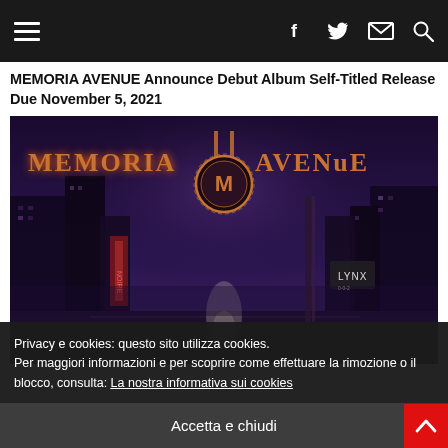Navigation bar with hamburger menu and social icons (f, twitter, mail, search)
MEMORIA AVENUE Announce Debut Album Self-Titled Release Due November 5, 2021
[Figure (photo): Album cover / promotional image for Memoria Avenue showing a dark stylized city street scene at night with the band name 'MEMORIA AVENUE' in ornate copper/red lettering and an MA logo medallion at center top]
Privacy e cookies: questo sito utilizza cookies.
Per maggiori informazioni e per scoprire come effettuare la rimozione o il blocco, consulta: La nostra informativa sui cookies
Accetta e chiudi